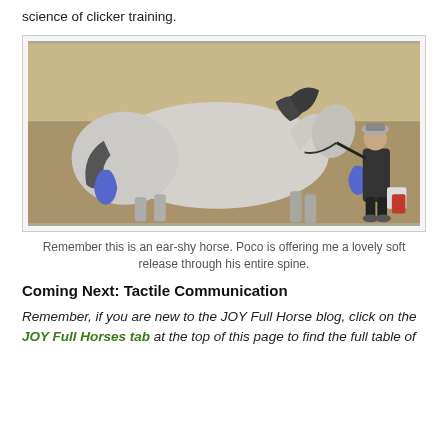science of clicker training.
[Figure (photo): A grey horse standing in an arena with a person in dark clothing and a patterned hat holding its lead rope near its head. Blue objects visible near the horse's legs and beside the handler.]
Remember this is an ear-shy horse. Poco is offering me a lovely soft release through his entire spine.
Coming Next: Tactile Communication
Remember, if you are new to the JOY Full Horse blog, click on the JOY Full Horses tab at the top of this page to find the full table of